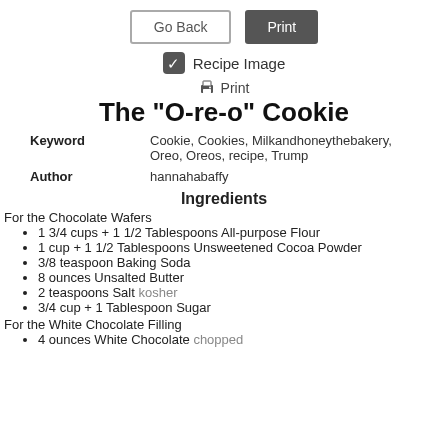Go Back | Print
Recipe Image
Print
The "O-re-o" Cookie
Keyword: Cookie, Cookies, Milkandhoneythebakery, Oreo, Oreos, recipe, Trump
Author: hannahabaffy
Ingredients
For the Chocolate Wafers
1 3/4 cups + 1 1/2 Tablespoons All-purpose Flour
1 cup + 1 1/2 Tablespoons Unsweetened Cocoa Powder
3/8 teaspoon Baking Soda
8 ounces Unsalted Butter
2 teaspoons Salt kosher
3/4 cup + 1 Tablespoon Sugar
For the White Chocolate Filling
4 ounces White Chocolate chopped